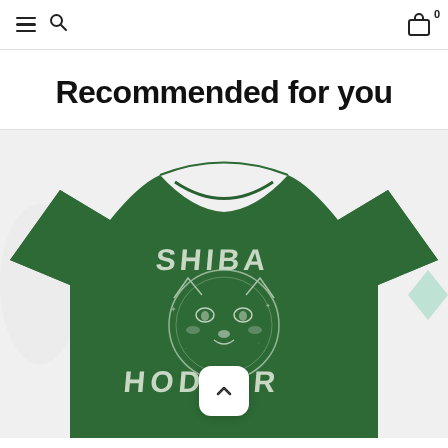Navigation header with hamburger menu, search icon, and shopping cart with 0 items
Recommended for you
[Figure (photo): Green t-shirt with 'SHIBA HODLER' graphic design featuring a Shiba Inu dog face in a circle, text 'SHIBA' above and 'HODLER' below, on a light gray background. A scroll-to-top button is overlaid at the bottom center.]